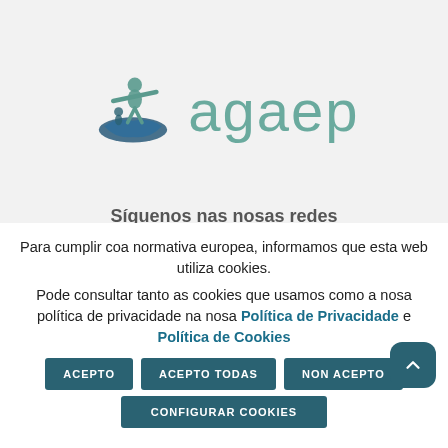[Figure (logo): agaep logo with stylized figure on a hand/wave graphic in teal/blue tones, with the text 'agaep' in teal]
Síguenos nas nosas redes
Para cumplir coa normativa europea, informamos que esta web utiliza cookies.
Pode consultar tanto as cookies que usamos como a nosa política de privacidade na nosa Política de Privacidade e Política de Cookies
ACEPTO
ACEPTO TODAS
NON ACEPTO
CONFIGURAR COOKIES